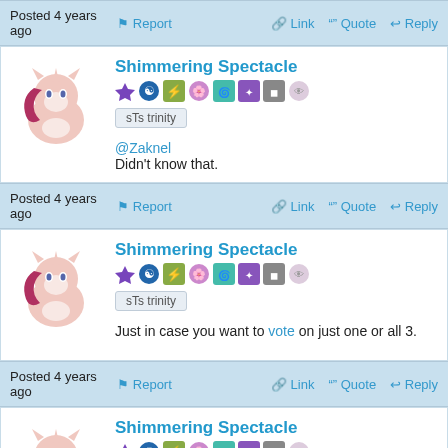Posted 4 years ago  Report  Link  Quote  Reply
[Figure (illustration): Pony avatar - pink/rose colored pony character silhouette]
Shimmering Spectacle
sTs trinity
@Zaknel
Didn't know that.
Posted 4 years ago  Report  Link  Quote  Reply
[Figure (illustration): Pony avatar - pink/rose colored pony character silhouette]
Shimmering Spectacle
sTs trinity
Just in case you want to vote on just one or all 3.
Posted 4 years ago  Report  Link  Quote  Reply
[Figure (illustration): Pony avatar - pink/rose colored pony character silhouette]
Shimmering Spectacle
sTs trinity